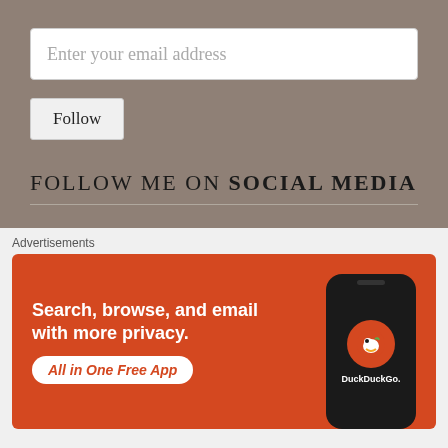Enter your email address
Follow
FOLLOW ME ON SOCIAL MEDIA
CLICK BELOW TO FOLLOW ON
Advertisements
[Figure (infographic): DuckDuckGo advertisement banner on orange background. Text reads: Search, browse, and email with more privacy. All in One Free App. Shows a phone with DuckDuckGo logo.]